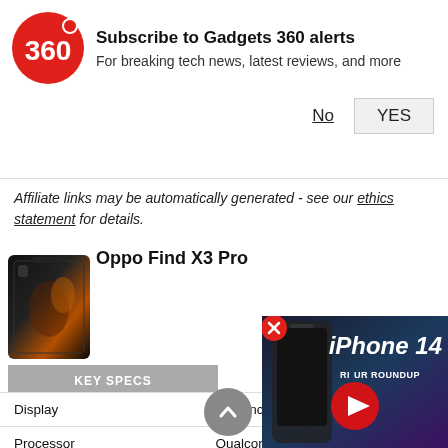[Figure (infographic): Gadgets 360 notification subscription banner with red circular logo showing '360', title 'Subscribe to Gadgets 360 alerts', subtitle 'For breaking tech news, latest reviews, and more', with 'No' and 'YES' buttons]
Affiliate links may be automatically generated - see our ethics statement for details.
Oppo Find X3 Pro
[Figure (photo): Oppo Find X3 Pro smartphone product image, dark colorway]
| Spec | Value |
| --- | --- |
| Display | 6.70-inc... |
| Processor | Qualcomm Snapdragon 888 |
| Front Camera | 32-megapixel |
[Figure (screenshot): iPhone 14 Review Roundup video thumbnail overlay with play button]